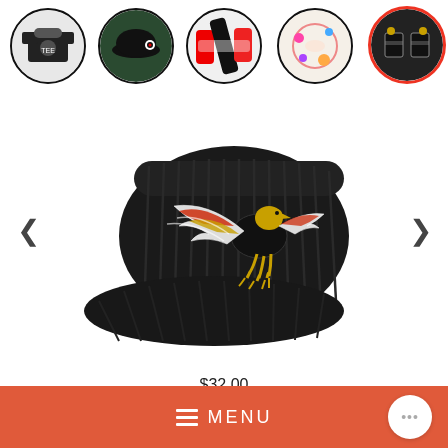[Figure (screenshot): E-commerce website screenshot showing navigation category circles (TEES, HEADWEAR, SOCKS, ACCESSORIES, SALE) at top, a product photo of a black corduroy cap with eagle embroidery in the center with left/right arrows, a red MENU bar at the bottom with a chat bubble button, and a price of $32.00]
TEES
HEADWEAR
SOCKS
ACCESSORIES
SALE
≡  MENU
$32.00